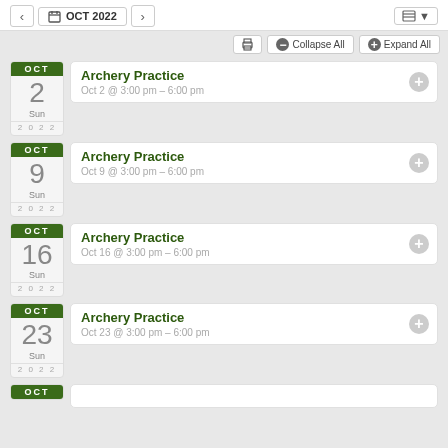OCT 2022 calendar navigation
Archery Practice — Oct 2 @ 3:00 pm – 6:00 pm — Sun, 2022
Archery Practice — Oct 9 @ 3:00 pm – 6:00 pm — Sun, 2022
Archery Practice — Oct 16 @ 3:00 pm – 6:00 pm — Sun, 2022
Archery Practice — Oct 23 @ 3:00 pm – 6:00 pm — Sun, 2022
Archery Practice — Oct (partial) — Sun, 2022